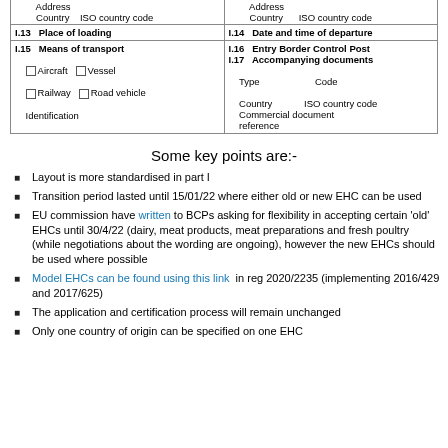|  | Address / Country / ISO country code |  | Address / Country / ISO country code |
| --- | --- | --- | --- |
| I.13 | Place of loading | I.14 | Date and time of departure |
| I.15 | Means of transport
□ Aircraft □ Vessel
□ Railway □ Road vehicle
Identification | I.16 | Entry Border Control Post
I.17 Accompanying documents
Type Code
Country ISO country code
Commercial document reference |
Some key points are:-
Layout is more standardised in part I
Transition period lasted until 15/01/22 where either old or new EHC can be used
EU commission have written to BCPs asking for flexibility in accepting certain 'old' EHCs until 30/4/22 (dairy, meat products, meat preparations and fresh poultry (while negotiations about the wording are ongoing), however the new EHCs should be used where possible
Model EHCs can be found using this link  in reg 2020/2235 (implementing 2016/429 and 2017/625)
The application and certification process will remain unchanged
Only one country of origin can be specified on one EHC